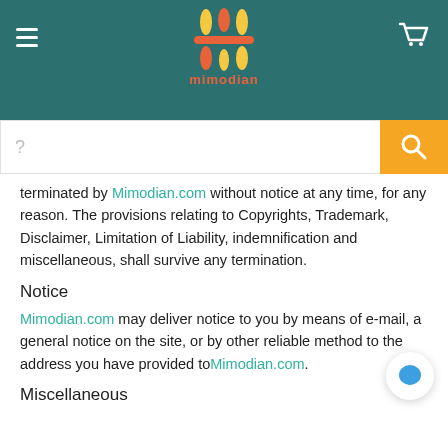[Figure (logo): Mimodian logo with colorful vertical bars and text 'mimodian' in orange-red on teal header background]
terminated by Mimodian.com without notice at any time, for any reason. The provisions relating to Copyrights, Trademark, Disclaimer, Limitation of Liability, indemnification and miscellaneous, shall survive any termination.
Notice
Mimodian.com may deliver notice to you by means of e-mail, a general notice on the site, or by other reliable method to the address you have provided to Mimodian.com.
Miscellaneous